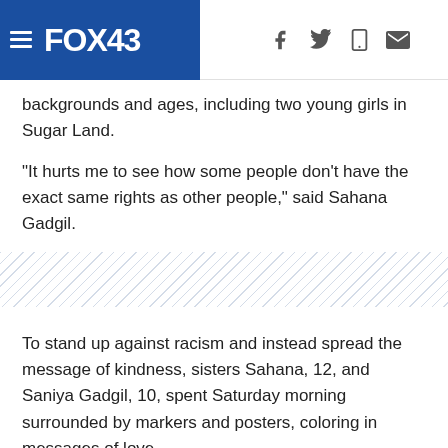FOX43
backgrounds and ages, including two young girls in Sugar Land.
"It hurts me to see how some people don't have the exact same rights as other people," said Sahana Gadgil.
To stand up against racism and instead spread the message of kindness, sisters Sahana, 12, and Saniya Gadgil, 10, spent Saturday morning surrounded by markers and posters, coloring in messages of love.
"As long as you have a voice, you should use it to better the world," Sahana Gadgil said.
Saddened by the ongoing racial tensions across the